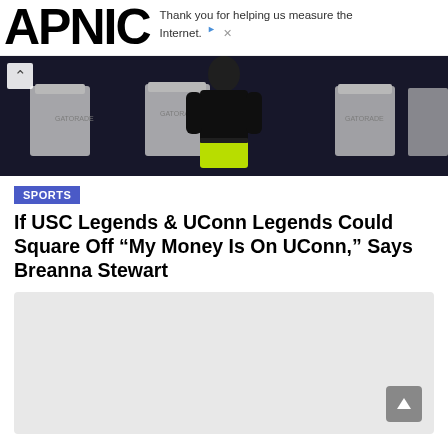APNIC
Thank you for helping us measure the Internet.
[Figure (photo): Person wearing black top and bright yellow/green shorts standing in front of white folding chairs with dark background]
SPORTS
If USC Legends & UConn Legends Could Square Off “My Money Is On UConn,” Says Breanna Stewart
[Figure (other): Gray placeholder advertisement or content box with scroll-to-top button]